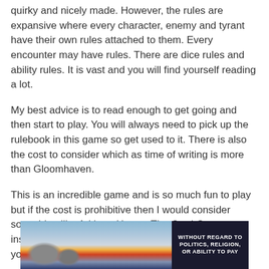quirky and nicely made. However, the rules are expansive where every character, enemy and tyrant have their own rules attached to them. Every encounter may have rules. There are dice rules and ability rules. It is vast and you will find yourself reading a lot.
My best advice is to read enough to get going and then start to play. You will always need to pick up the rulebook in this game so get used to it. There is also the cost to consider which as time of writing is more than Gloomhaven.
This is an incredible game and is so much fun to play but if the cost is prohibitive then I would consider something like Arkham Horror: The Card Game instead. It is around a third of the price and will give you some great evenings
[Figure (photo): Advertisement banner showing an airplane being loaded with cargo, with text overlay reading 'WITHOUT REGARD TO POLITICS, RELIGION, OR ABILITY TO PAY' on a dark background.]